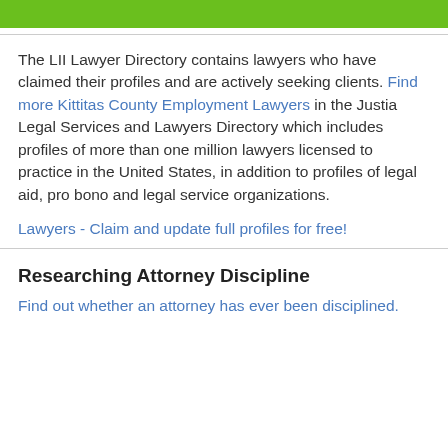The LII Lawyer Directory contains lawyers who have claimed their profiles and are actively seeking clients. Find more Kittitas County Employment Lawyers in the Justia Legal Services and Lawyers Directory which includes profiles of more than one million lawyers licensed to practice in the United States, in addition to profiles of legal aid, pro bono and legal service organizations.
Lawyers - Claim and update full profiles for free!
Researching Attorney Discipline
Find out whether an attorney has ever been disciplined.